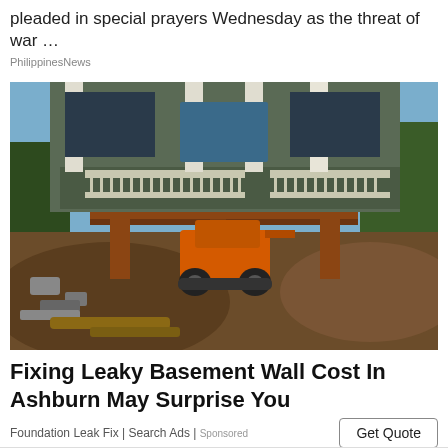pleaded in special prayers Wednesday as the threat of war …
PhilippinesNews
[Figure (photo): Construction scene showing a house elevated on supports/beams with an orange skid steer loader underneath, surrounded by excavated soil and rubble]
Fixing Leaky Basement Wall Cost In Ashburn May Surprise You
Foundation Leak Fix | Search Ads | Sponsored
Get Quote